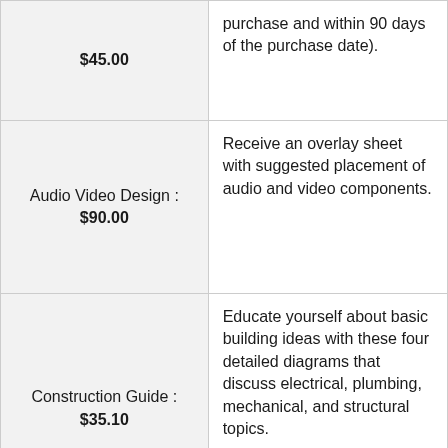| Item | Description |
| --- | --- |
| $45.00 | purchase and within 90 days of the purchase date). |
| Audio Video Design : $90.00 | Receive an overlay sheet with suggested placement of audio and video components. |
| Construction Guide : $35.10 | Educate yourself about basic building ideas with these four detailed diagrams that discuss electrical, plumbing, mechanical, and structural topics. |
|  | Receive an overlay |